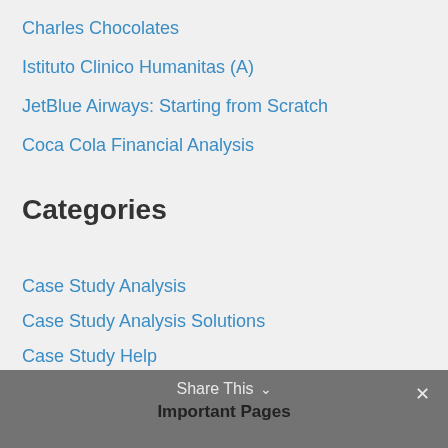Charles Chocolates
Istituto Clinico Humanitas (A)
JetBlue Airways: Starting from Scratch
Coca Cola Financial Analysis
Categories
Case Study Analysis
Case Study Analysis Solutions
Case Study Help
HBR Case Studies
Share This ∨  ✕  Important Pages